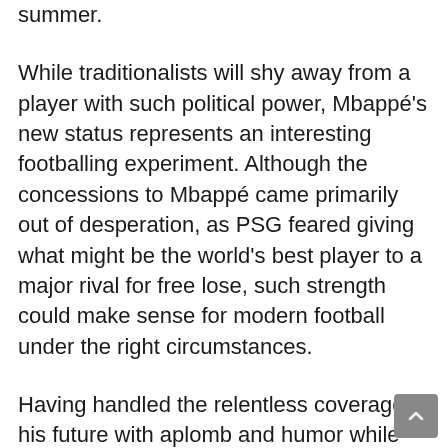summer.
While traditionalists will shy away from a player with such political power, Mbappé's new status represents an interesting footballing experiment. Although the concessions to Mbappé came primarily out of desperation, as PSG feared giving what might be the world's best player to a major rival for free lose, such strength could make sense for modern football under the right circumstances.
Having handled the relentless coverage of his future with aplomb and humor while his performances have only improved, Mbappé's reputation has grown both inside and outside PSG. Giving footballers too much clout at